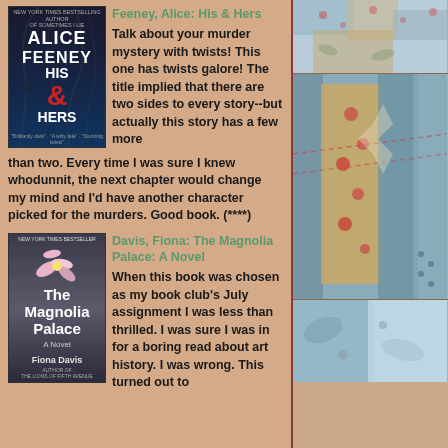[Figure (photo): Book cover of 'His & Hers' by Alice Feeney, dark background with text]
Feeney, Alice: His & Hers
Talk about your murder mystery with twists! This one has twists galore! The title implied that there are two sides to every story--but actually this story has a few more than two. Every time I was sure I knew whodunnit, the next chapter would change my mind and I'd have another character picked for the murders. Good book. (****)
[Figure (photo): Book cover of 'The Magnolia Palace: A Novel' by Fiona Davis]
Davis, Fiona: The Magnolia Palace: A Novel
When this book was chosen as my book club's July assignment I was less than thrilled. I was sure I was in for a boring read about art history. I was wrong. This turned out to
[Figure (photo): Quilt fabric photo showing patchwork with floral patterns in teal, gold, and red]
[Figure (photo): Close-up quilt photo with star/stocking pattern in teal, cream, and red floral fabrics]
[Figure (photo): Partial quilt photo in teal/blue fabrics at bottom right]